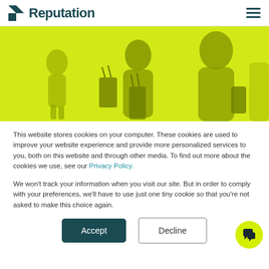Reputation
[Figure (photo): Yellow-tinted photo of person carrying shopping bags from behind]
This website stores cookies on your computer. These cookies are used to improve your website experience and provide more personalized services to you, both on this website and through other media. To find out more about the cookies we use, see our Privacy Policy.
We won't track your information when you visit our site. But in order to comply with your preferences, we'll have to use just one tiny cookie so that you're not asked to make this choice again.